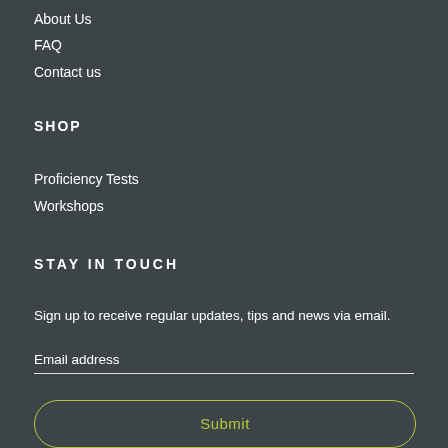About Us
FAQ
Contact us
SHOP
Proficiency Tests
Workshops
STAY IN TOUCH
Sign up to receive regular updates, tips and news via email.
Email address
Submit